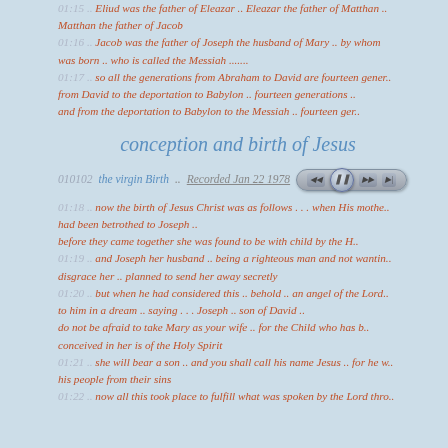01:15 .. Eliud was the father of Eleazar .. Eleazar the father of Matthan .. Matthan the father of Jacob
01:16 .. Jacob was the father of Joseph the husband of Mary .. by whom was born .. who is called the Messiah .......
01:17 .. so all the generations from Abraham to David are fourteen generations .. from David to the deportation to Babylon .. fourteen generations .. and from the deportation to Babylon to the Messiah .. fourteen generations ..
conception and birth of Jesus
010102 the virgin Birth .. Recorded Jan 22 1978
01:18 .. now the birth of Jesus Christ was as follows . . . when His mother had been betrothed to Joseph ..
before they came together she was found to be with child by the H..
01:19 .. and Joseph her husband .. being a righteous man and not wanting to disgrace her .. planned to send her away secretly
01:20 .. but when he had considered this .. behold .. an angel of the Lord appeared to him in a dream .. saying . . . Joseph .. son of David ..
do not be afraid to take Mary as your wife .. for the Child who has been conceived in her is of the Holy Spirit
01:21 .. she will bear a son .. and you shall call his name Jesus .. for he will save his people from their sins
01:22 .. now all this took place to fulfill what was spoken by the Lord through..